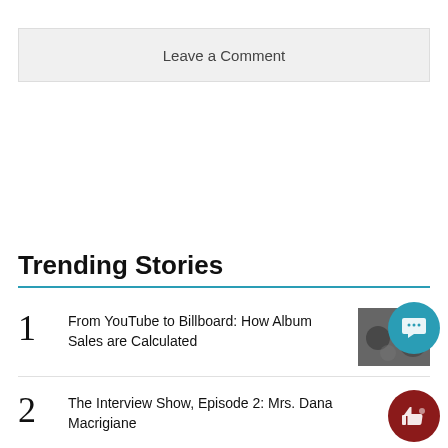Leave a Comment
Trending Stories
1  From YouTube to Billboard: How Album Sales are Calculated
2  The Interview Show, Episode 2: Mrs. Dana Macrigiane